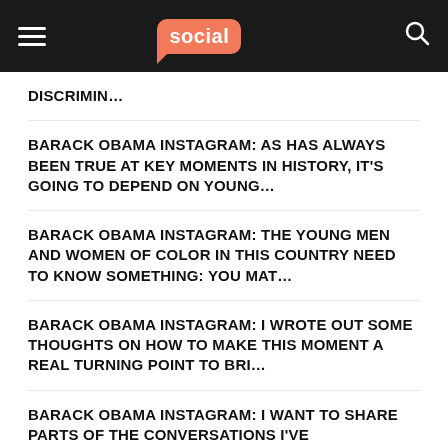social coral
DISCRIMIN…
BARACK OBAMA INSTAGRAM: AS HAS ALWAYS BEEN TRUE AT KEY MOMENTS IN HISTORY, IT'S GOING TO DEPEND ON YOUNG…
BARACK OBAMA INSTAGRAM: THE YOUNG MEN AND WOMEN OF COLOR IN THIS COUNTRY NEED TO KNOW SOMETHING: YOU MAT…
BARACK OBAMA INSTAGRAM: I WROTE OUT SOME THOUGHTS ON HOW TO MAKE THIS MOMENT A REAL TURNING POINT TO BRI…
BARACK OBAMA INSTAGRAM: I WANT TO SHARE PARTS OF THE CONVERSATIONS I'VE